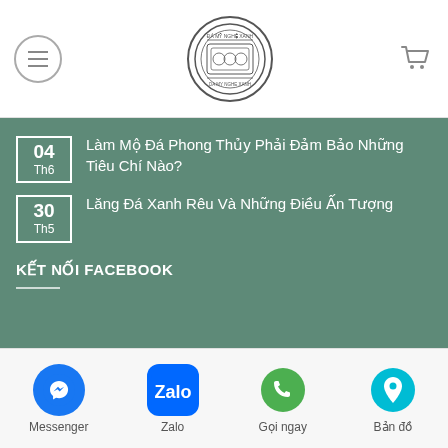[Figure (logo): Circular logo with decorative border, center emblem text in Vietnamese style stone shop]
04 Th6 — Làm Mộ Đá Phong Thủy Phải Đảm Bảo Những Tiêu Chí Nào?
30 Th5 — Lăng Đá Xanh Rêu Và Những Điều Ấn Tượng
KẾT NỐI FACEBOOK
[Figure (infographic): Bottom navigation bar with Messenger, Zalo, Gọi ngay (phone), and Bản đồ (map) icons]